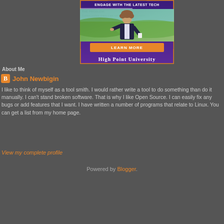[Figure (photo): High Point University advertisement banner showing a presenter speaking, with 'ENGAGE WITH THE LATEST TECH' header, THE PROBLEM text overlay, a LEARN MORE orange button, and 'High Point University' text at bottom on purple background]
About Me
John Newbigin
I like to think of myself as a tool smith. I would rather write a tool to do something than do it manually. I can't stand broken software. That is why I like Open Source. I can easily fix any bugs or add features that I want. I have written a number of programs that relate to Linux. You can get a list from my home page.
View my complete profile
Powered by Blogger.